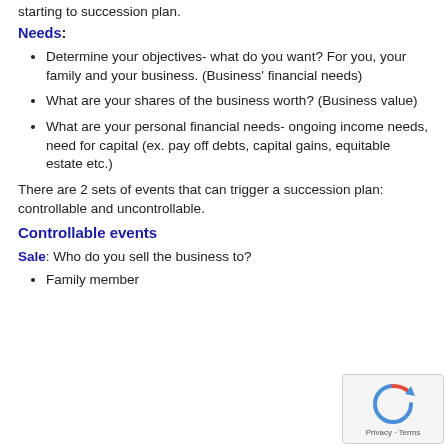starting to succession plan.
Needs:
Determine your objectives- what do you want? For you, your family and your business. (Business' financial needs)
What are your shares of the business worth? (Business value)
What are your personal financial needs- ongoing income needs, need for capital (ex. pay off debts, capital gains, equitable estate etc.)
There are 2 sets of events that can trigger a succession plan: controllable and uncontrollable.
Controllable events
Sale: Who do you sell the business to?
Family member